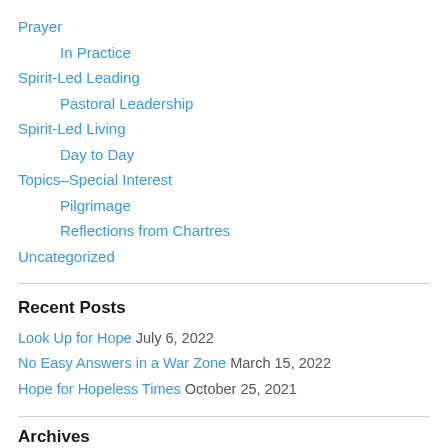Prayer
In Practice
Spirit-Led Leading
Pastoral Leadership
Spirit-Led Living
Day to Day
Topics–Special Interest
Pilgrimage
Reflections from Chartres
Uncategorized
Recent Posts
Look Up for Hope July 6, 2022
No Easy Answers in a War Zone March 15, 2022
Hope for Hopeless Times October 25, 2021
Archives